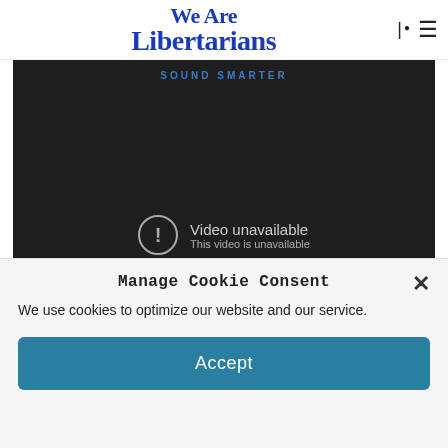We Are Libertarians
[Figure (screenshot): Embedded video player with dark background showing 'SOUND SMARTER' text at top and 'Video unavailable / This video is unavailable' error message with exclamation icon in center]
Manage Cookie Consent
We use cookies to optimize our website and our service.
Accept